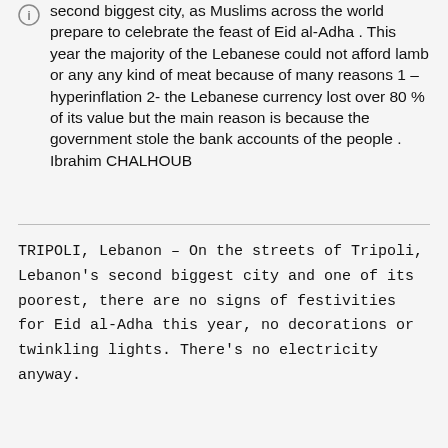second biggest city, as Muslims across the world prepare to celebrate the feast of Eid al-Adha . This year the majority of the Lebanese could not afford lamb or any any kind of meat because of many reasons 1 – hyperinflation 2- the Lebanese currency lost over 80 % of its value but the main reason is because the government stole the bank accounts of the people . Ibrahim CHALHOUB
TRIPOLI, Lebanon – On the streets of Tripoli, Lebanon's second biggest city and one of its poorest, there are no signs of festivities for Eid al-Adha this year, no decorations or twinkling lights. There's no electricity anyway.